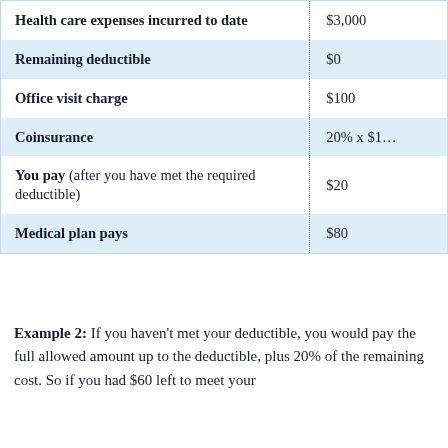|  |  |
| --- | --- |
| Health care expenses incurred to date | $3,000 |
| Remaining deductible | $0 |
| Office visit charge | $100 |
| Coinsurance | 20% x $1… |
| You pay (after you have met the required deductible) | $20 |
| Medical plan pays | $80 |
Example 2: If you haven't met your deductible, you would pay the full allowed amount up to the deductible, plus 20% of the remaining cost. So if you had $60 left to meet your